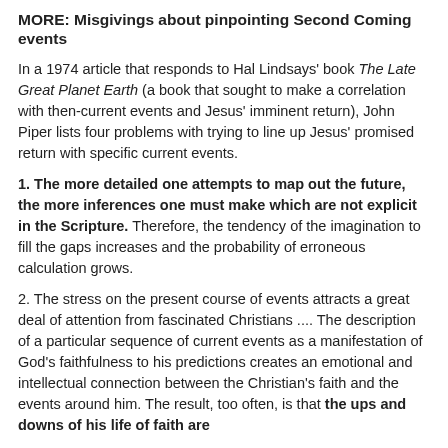MORE: Misgivings about pinpointing Second Coming events
In a 1974 article that responds to Hal Lindsays' book The Late Great Planet Earth (a book that sought to make a correlation with then-current events and Jesus' imminent return), John Piper lists four problems with trying to line up Jesus' promised return with specific current events.
1. The more detailed one attempts to map out the future, the more inferences one must make which are not explicit in the Scripture. Therefore, the tendency of the imagination to fill the gaps increases and the probability of erroneous calculation grows.
2. The stress on the present course of events attracts a great deal of attention from fascinated Christians .... The description of a particular sequence of current events as a manifestation of God's faithfulness to his predictions creates an emotional and intellectual connection between the Christian's faith and the events around him. The result, too often, is that the ups and downs of his life of faith are